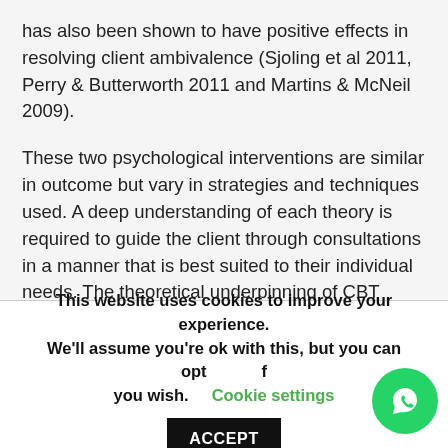has also been shown to have positive effects in resolving client ambivalence (Sjoling et al 2011, Perry & Butterworth 2011 and Martins & McNeil 2009).
These two psychological interventions are similar in outcome but vary in strategies and techniques used. A deep understanding of each theory is required to guide the client through consultations in a manner that is best suited to their individual needs. The theoretical underpinning of CBT includes, identifying and correcting irrational behaviour. In order to do this the counsellor needs an understanding of and analyse each client's individual cognitive errors and replace them with a positive thought process. Cognitive
This website uses cookies to improve your experience. We'll assume you're ok with this, but you can opt out if you wish. Cookie settings ACCEPT